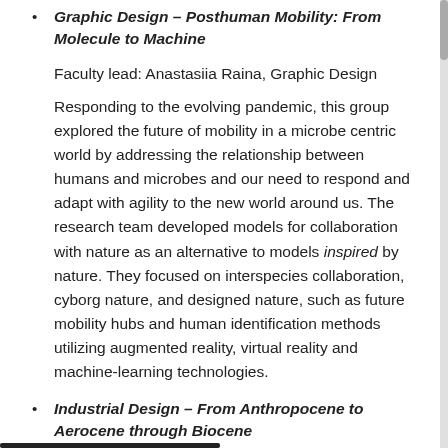Graphic Design – Posthuman Mobility: From Molecule to Machine
Faculty lead: Anastasiia Raina, Graphic Design
Responding to the evolving pandemic, this group explored the future of mobility in a microbe centric world by addressing the relationship between humans and microbes and our need to respond and adapt with agility to the new world around us. The research team developed models for collaboration with nature as an alternative to models inspired by nature. They focused on interspecies collaboration, cyborg nature, and designed nature, such as future mobility hubs and human identification methods utilizing augmented reality, virtual reality and machine-learning technologies.
Industrial Design – From Anthropocene to Aerocene through Biocene
Faculty lead: Paolo Cardini, Industrial Design